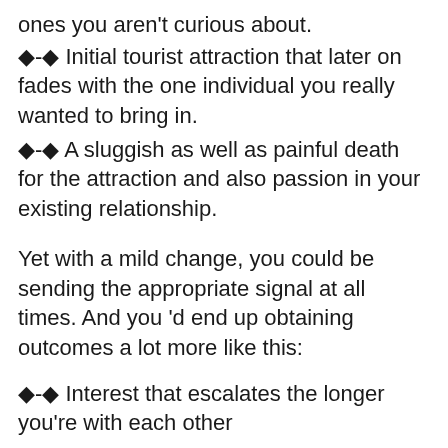ones you aren't curious about.
◆-◆ Initial tourist attraction that later on fades with the one individual you really wanted to bring in.
◆-◆ A sluggish as well as painful death for the attraction and also passion in your existing relationship.
Yet with a mild change, you could be sending the appropriate signal at all times. And you 'd end up obtaining outcomes a lot more like this:
◆-◆ Interest that escalates the longer you're with each other
◆-◆ A man that clearly really feels protective of you
◆-◆ A deep sensation of private exclusivity as he allows you right into his internal globe